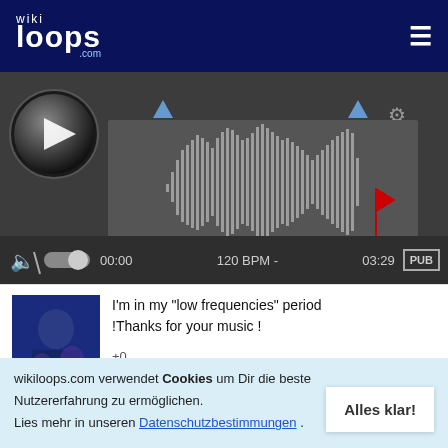[Figure (screenshot): wikiloops.com website header with logo and hamburger menu on dark navy background]
[Figure (screenshot): Audio player with waveform, play button, volume, time display showing 00:00 and 03:29, 120 BPM, PUB button]
I'm in my "low frequencies" period !Thanks for your music !
+0
wikiloops.com verwendet Cookies um Dir die beste Nutzererfahrung zu ermöglichen. Lies mehr in unseren Datenschutzbestimmungen .